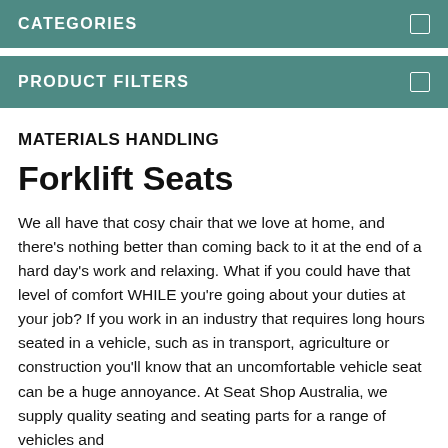CATEGORIES
PRODUCT FILTERS
MATERIALS HANDLING
Forklift Seats
We all have that cosy chair that we love at home, and there's nothing better than coming back to it at the end of a hard day's work and relaxing. What if you could have that level of comfort WHILE you're going about your duties at your job? If you work in an industry that requires long hours seated in a vehicle, such as in transport, agriculture or construction you'll know that an uncomfortable vehicle seat can be a huge annoyance. At Seat Shop Australia, we supply quality seating and seating parts for a range of vehicles and